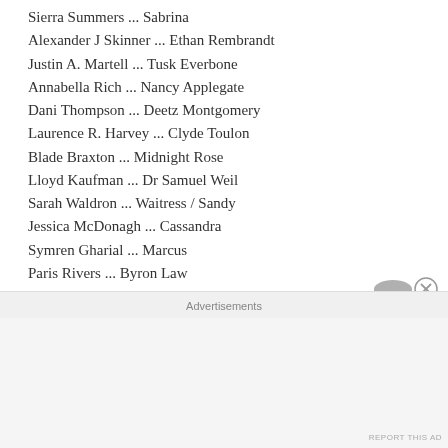Sierra Summers … Sabrina
Alexander J Skinner … Ethan Rembrandt
Justin A. Martell … Tusk Everbone
Annabella Rich … Nancy Applegate
Dani Thompson … Deetz Montgomery
Laurence R. Harvey … Clyde Toulon
Blade Braxton … Midnight Rose
Lloyd Kaufman … Dr Samuel Weil
Sarah Waldron … Waitress / Sandy
Jessica McDonagh … Cassandra
Symren Gharial … Marcus
Paris Rivers … Byron Law
Ria Fend … Phoebe
Danny Naylor … Columbine Boy
Katrina Tia Charles … Stephanie
Advertisements
REPORT THIS AD